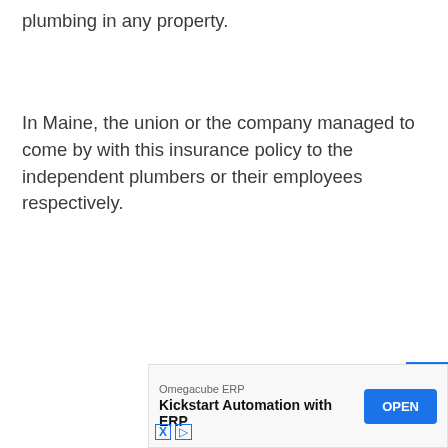plumbing in any property.
In Maine, the union or the company managed to come by with this insurance policy to the independent plumbers or their employees respectively.
[Figure (other): Advertisement banner: Omegacube ERP – Kickstart Automation with ERP, with an OPEN button]